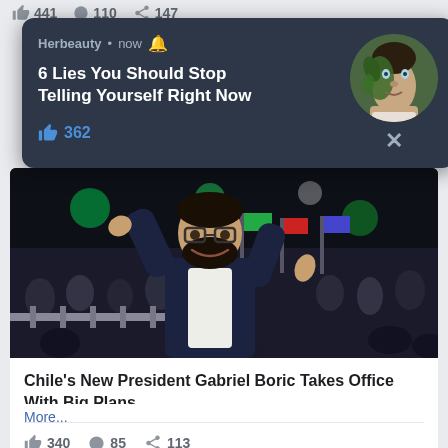441  110  147
[Figure (screenshot): Herbeauty notification popup with title '6 Lies You Should Stop Telling Yourself Right Now', 362 likes, and a circular avatar image of a man with nature/plant on face]
[Figure (photo): Gabriel Boric celebrating with crowd, raising hands, wearing glasses and dark suit, large crowd with flags in background]
Chile's New President Gabriel Boric Takes Office With Big Plans
More...
340  85  113